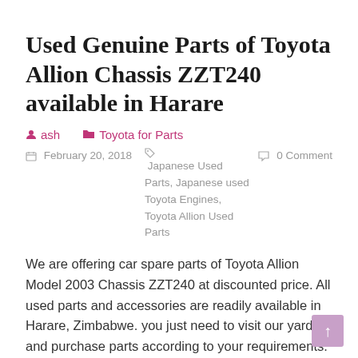Used Genuine Parts of Toyota Allion Chassis ZZT240 available in Harare
ash   Toyota for Parts
February 20, 2018   Japanese Used Parts, Japanese used Toyota Engines, Toyota Allion Used Parts   0 Comment
We are offering car spare parts of Toyota Allion Model 2003 Chassis ZZT240 at discounted price. All used parts and accessories are readily available in Harare, Zimbabwe. you just need to visit our yard and purchase parts according to your requirements.
If you need detail information for any parts, please call or whatsapp +263 7 8221 7200